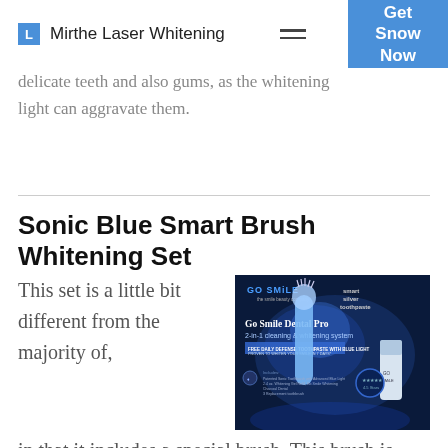Mirthe Laser Whitening | Get Snow Now
delicate teeth and also gums, as the whitening light can aggravate them.
Sonic Blue Smart Brush Whitening Set
[Figure (photo): Go Smile Dental Pro 2-in-1 cleaning & whitening system product box with a sonic brush and tube on a dark blue background]
This set is a little bit different from the majority of, in that it includes a special brush. This brush is